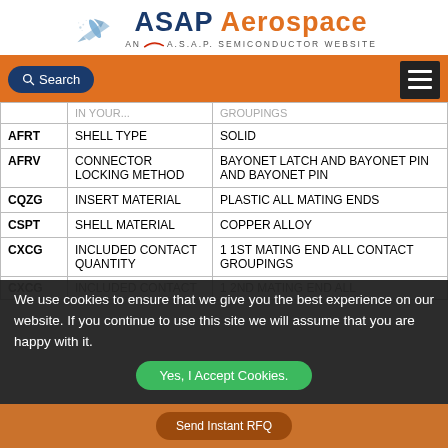[Figure (logo): ASAP Aerospace logo with airplane graphic and AN A.S.A.P. SEMICONDUCTOR WEBSITE tagline]
[Figure (screenshot): Navigation bar with Search button and hamburger menu on orange background]
| Code | Description | Value |
| --- | --- | --- |
| AFRT | SHELL TYPE | SOLID |
| AFRV | CONNECTOR LOCKING METHOD | BAYONET LATCH AND BAYONET PIN AND BAYONET PIN |
| CQZG | INSERT MATERIAL | PLASTIC ALL MATING ENDS |
| CSPT | SHELL MATERIAL | COPPER ALLOY |
| CXCG | INCLUDED CONTACT QUANTITY | 1 1ST MATING END ALL CONTACT GROUPINGS |
| CXCG | INCLUDED CONTACT ... | 1 2ND MATING END ALL ... |
| CXCG | ...QUANTITY | CONTACT GROUPINGS |
We use cookies to ensure that we give you the best experience on our website. If you continue to use this site we will assume that you are happy with it.
Yes, I Accept Cookies.